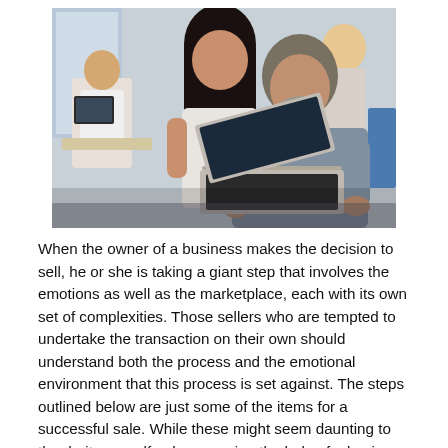[Figure (photo): Office scene with three people: a man in a grey shirt and a woman in a white blouse looking at a laptop together in the foreground, and another person seated at a desk in the background.]
When the owner of a business makes the decision to sell, he or she is taking a giant step that involves the emotions as well as the marketplace, each with its own set of complexities. Those sellers who are tempted to undertake the transaction on their own should understand both the process and the emotional environment that this process is set against. The steps outlined below are just some of the items for a successful sale. While these might seem daunting to the do-it-yourselfer, by engaging the help of a business intermediary, the seller can f...